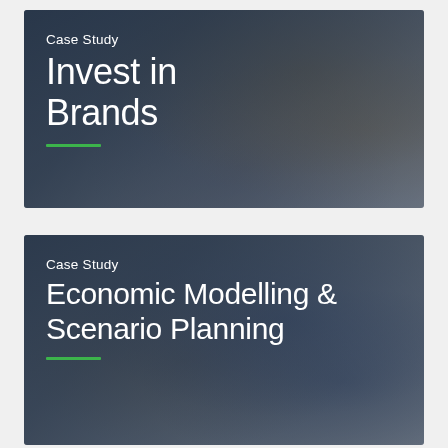[Figure (photo): Case study card with dark overlay over a photo of shopping bags being held. White text reads 'Case Study' and 'Invest in Brands' with a green underline bar.]
[Figure (photo): Case study card with dark overlay over a photo of hands writing/drawing on paper with a blue pen. White text reads 'Case Study' and 'Economic Modelling & Scenario Planning' with a green underline bar.]